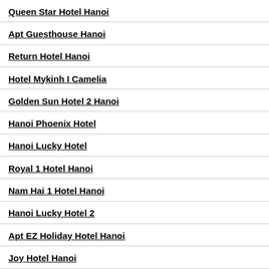Queen Star Hotel Hanoi
Apt Guesthouse Hanoi
Return Hotel Hanoi
Hotel Mykinh I Camelia
Golden Sun Hotel 2 Hanoi
Hanoi Phoenix Hotel
Hanoi Lucky Hotel
Royal 1 Hotel Hanoi
Nam Hai 1 Hotel Hanoi
Hanoi Lucky Hotel 2
Apt EZ Holiday Hotel Hanoi
Joy Hotel Hanoi